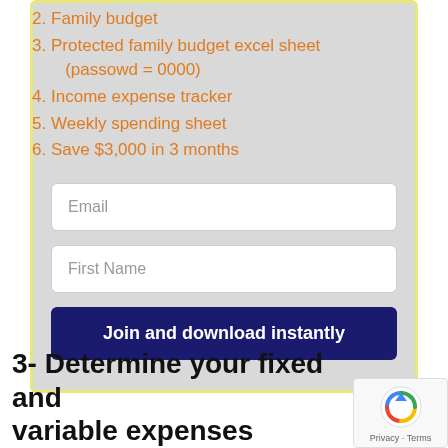2. Family budget
3. Protected family budget excel sheet (passowd = 0000)
4. Income expense tracker
5. Weekly spending sheet
6. Save $3,000 in 3 months
Email
First Name
Join and download instantly
3- Determine your fixed and variable expenses